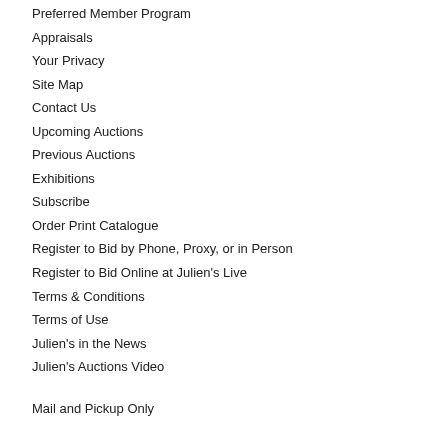Preferred Member Program
Appraisals
Your Privacy
Site Map
Contact Us
Upcoming Auctions
Previous Auctions
Exhibitions
Subscribe
Order Print Catalogue
Register to Bid by Phone, Proxy, or in Person
Register to Bid Online at Julien's Live
Terms & Conditions
Terms of Use
Julien's in the News
Julien's Auctions Video
Mail and Pickup Only